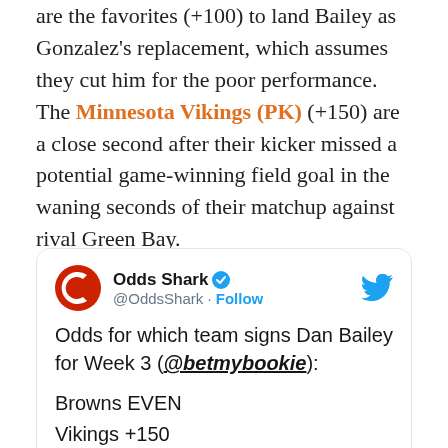are the favorites (+100) to land Bailey as Gonzalez's replacement, which assumes they cut him for the poor performance. The Minnesota Vikings (PK) (+150) are a close second after their kicker missed a potential game-winning field goal in the waning seconds of their matchup against rival Green Bay.

The Browns are even bigger favorites (EVEN) to sign Bailey at a different sports book, per OddsShark.
[Figure (screenshot): Embedded tweet from Odds Shark (@OddsShark) with Follow button and Twitter bird icon. Tweet text: 'Odds for which team signs Dan Bailey for Week 3 (@betmybookie): Browns EVEN Vikings +150']